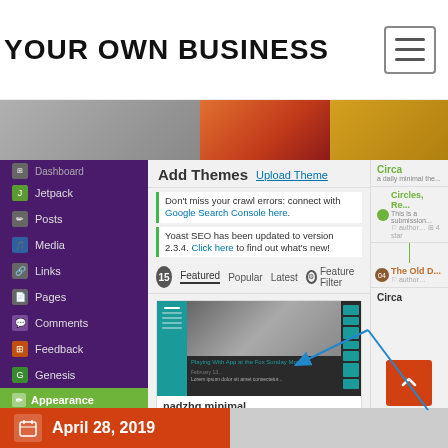YOUR OWN BUSINESS
[Figure (screenshot): WordPress admin interface showing Add Themes page with Upload Theme button, notification bars, tab filters (Featured, Popular, Latest, Feature Filter), and theme preview card for 'nadzhq minimal'. Left sidebar shows WordPress navigation menu with Appearance section active showing Themes, Customize, Widgets, Menus, Edit CSS, Editor, Plugins. Blue arrows point to Upload Theme button.]
April 28, 2019